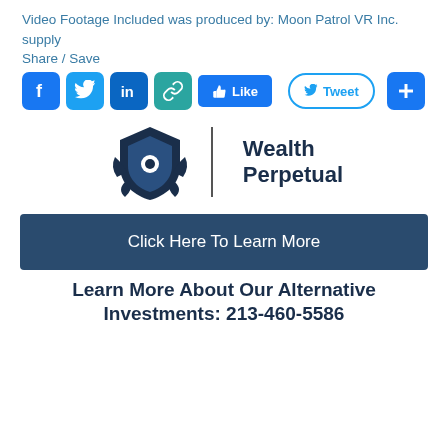Video Footage Included was produced by: Moon Patrol VR Inc.
supply
Share / Save
[Figure (infographic): Social sharing buttons: Facebook, Twitter, LinkedIn, Link, Like, Tweet, and a plus button]
[Figure (logo): Wealth Perpetual logo with shield icon and vertical divider]
Click Here To Learn More
Learn More About Our Alternative Investments: 213-460-5586